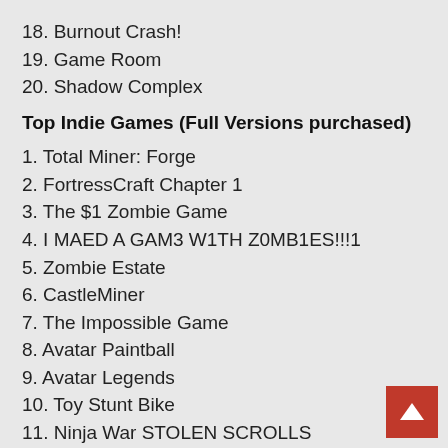18. Burnout Crash!
19. Game Room
20. Shadow Complex
Top Indie Games (Full Versions purchased)
1. Total Miner: Forge
2. FortressCraft Chapter 1
3. The $1 Zombie Game
4. I MAED A GAM3 W1TH Z0MB1ES!!!1
5. Zombie Estate
6. CastleMiner
7. The Impossible Game
8. Avatar Paintball
9. Avatar Legends
10. Toy Stunt Bike
11. Ninja War STOLEN SCROLLS
12. Dead Pixels
13. Avatar Golf
14.Angry Fish
15. Escape The Car
16. Flight Adventure 2